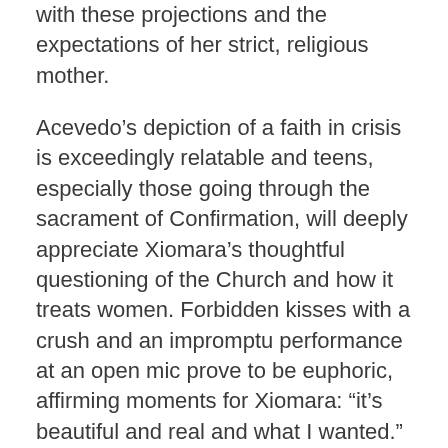with these projections and the expectations of her strict, religious mother.
Acevedo’s depiction of a faith in crisis is exceedingly relatable and teens, especially those going through the sacrament of Confirmation, will deeply appreciate Xiomara’s thoughtful questioning of the Church and how it treats women. Forbidden kisses with a crush and an impromptu performance at an open mic prove to be euphoric, affirming moments for Xiomara: “it’s beautiful and real and what I wanted.”
Acevedo’s poetry is skillfully and gorgeously crafted, each verse can be savored on its own, but together they create a portrait of a